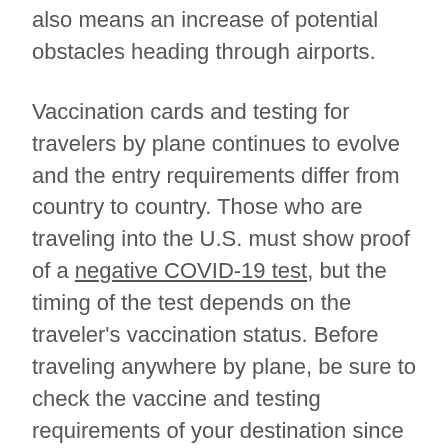also means an increase of potential obstacles heading through airports.
Vaccination cards and testing for travelers by plane continues to evolve and the entry requirements differ from country to country. Those who are traveling into the U.S. must show proof of a negative COVID-19 test, but the timing of the test depends on the traveler's vaccination status. Before traveling anywhere by plane, be sure to check the vaccine and testing requirements of your destination since they are ever-changing.
Recent headlines have illustrated the impact recent demand has had on airlines. American